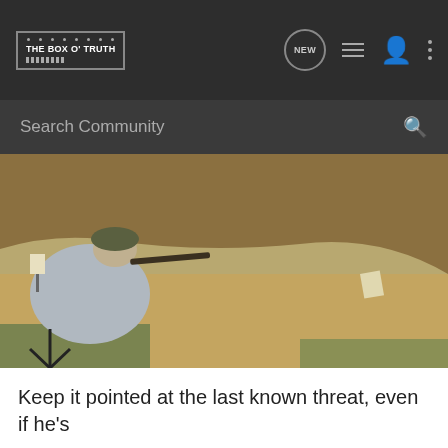THE BOX O' TRUTH
[Figure (photo): A person wearing a camouflage hat and grey sweatshirt seen from behind, crouching and aiming a rifle at a target in the distance. The shooting range has a sandy dirt floor and an earthen berm in the background.]
Keep it pointed at the last known threat, even if he's